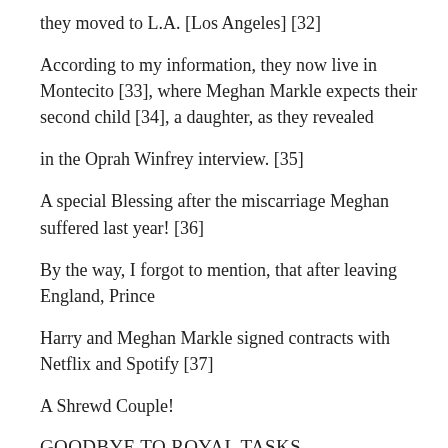they moved to L.A. [Los Angeles] [32]
According to my information, they now live in Montecito [33], where Meghan Markle expects their second child [34], a daughter, as they revealed
in the Oprah Winfrey interview. [35]
A special Blessing after the miscarriage Meghan suffered last year! [36]
By the way, I forgot to mention, that after leaving England, Prince
Harry and Meghan Markle signed contracts with Netflix and Spotify [37]
A Shrewd Couple!
GOODBYE TO ROYAL TASKS